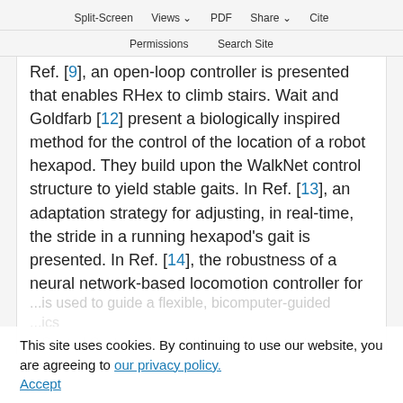Split-Screen  Views  PDF  Share  Cite
Permissions  Search Site
Ref. [9], an open-loop controller is presented that enables RHex to climb stairs. Wait and Goldfarb [12] present a biologically inspired method for the control of the location of a robot hexapod. They build upon the WalkNet control structure to yield stable gaits. In Ref. [13], an adaptation strategy for adjusting, in real-time, the stride in a running hexapod's gait is presented. In Ref. [14], the robustness of a neural network-based locomotion controller for
This site uses cookies. By continuing to use our website, you are agreeing to our privacy policy. Accept